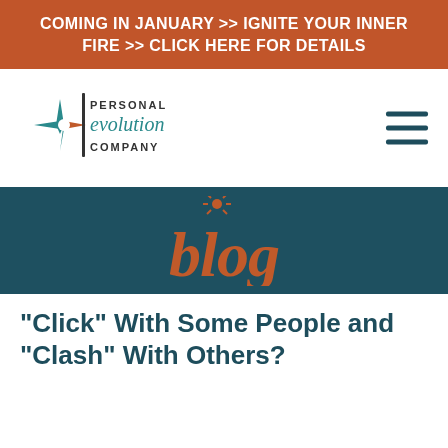COMING IN JANUARY >> IGNITE YOUR INNER FIRE >> CLICK HERE FOR DETAILS
[Figure (logo): Personal Evolution Company logo with teal star/compass shape and text]
[Figure (illustration): Blog word in terracotta/orange with a small sun/star above the letter o on teal background]
"Click" With Some People and "Clash" With Others?